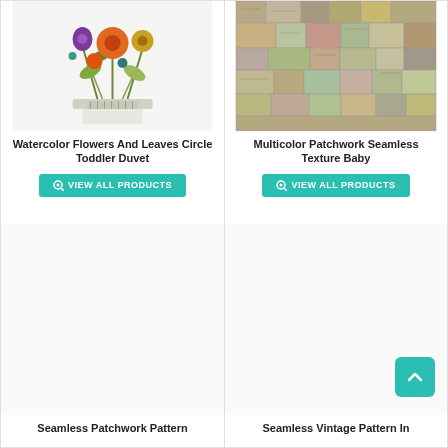[Figure (photo): Watercolor flowers and leaves circle pattern on a duvet/toddler product]
Watercolor Flowers And Leaves Circle Toddler Duvet
VIEW ALL PRODUCTS
[Figure (photo): Multicolor patchwork seamless texture in muted tones, fabric/baby product]
Multicolor Patchwork Seamless Texture Baby
VIEW ALL PRODUCTS
[Figure (photo): Seamless Patchwork Pattern (blank/loading image area)]
Seamless Patchwork Pattern
[Figure (photo): Seamless Vintage Pattern In (blank/loading image area) with back-to-top button]
Seamless Vintage Pattern In